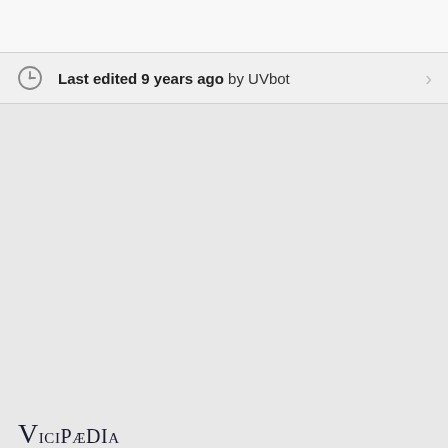Last edited 9 years ago by UVbot
Vicipaedia